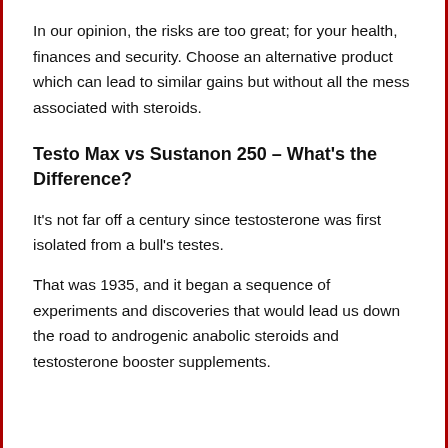In our opinion, the risks are too great; for your health, finances and security. Choose an alternative product which can lead to similar gains but without all the mess associated with steroids.
Testo Max vs Sustanon 250 – What's the Difference?
It's not far off a century since testosterone was first isolated from a bull's testes.
That was 1935, and it began a sequence of experiments and discoveries that would lead us down the road to androgenic anabolic steroids and testosterone booster supplements.